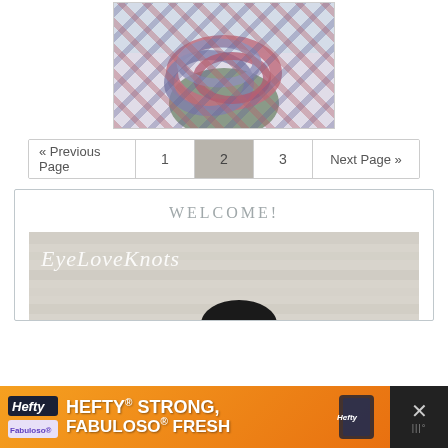[Figure (photo): Photo of a person wearing a multicolored crocheted infinity scarf in shades of pink, mauve, and grey/blue]
« Previous Page   1   2   3   Next Page »
WELCOME!
[Figure (photo): EyeLoveKnots blog banner image with text 'EyeLoveKnots' on a whitewashed wood background with dark yarn]
[Figure (photo): Advertisement banner: Hefty STRONG, FABULOSO FRESH with Hefty product image and Fabuloso logo. Close button with X on right side.]